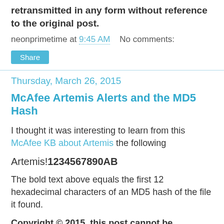retransmitted in any form without reference to the original post.
neonprimetime at 9:45 AM   No comments:
Share
Thursday, March 26, 2015
McAfee Artemis Alerts and the MD5 Hash
I thought it was interesting to learn from this McAfee KB about Artemis the following
Artemis!1234567890AB
The bold text above equals the first 12 hexadecimal characters of an MD5 hash of the file it found.
Copyright © 2015, this post cannot be reproduced or retransmitted in any form without reference to the original post.